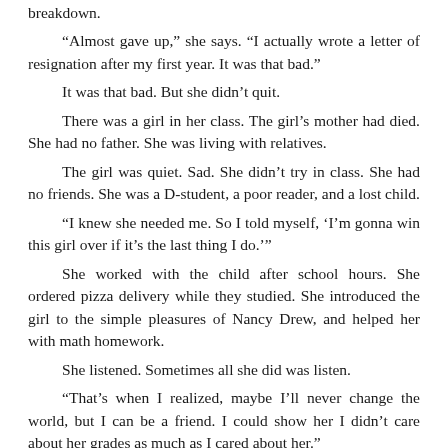breakdown.
“Almost gave up,” she says. “I actually wrote a letter of resignation after my first year. It was that bad.”
It was that bad. But she didn’t quit.
There was a girl in her class. The girl’s mother had died. She had no father. She was living with relatives.
The girl was quiet. Sad. She didn’t try in class. She had no friends. She was a D-student, a poor reader, and a lost child.
“I knew she needed me. So I told myself, ‘I’m gonna win this girl over if it’s the last thing I do.’”
She worked with the child after school hours. She ordered pizza delivery while they studied. She introduced the girl to the simple pleasures of Nancy Drew, and helped her with math homework.
She listened. Sometimes all she did was listen.
“That’s when I realized, maybe I’ll never change the world, but I can be a friend. I could show her I didn’t care about her grades as much as I cared about her.”